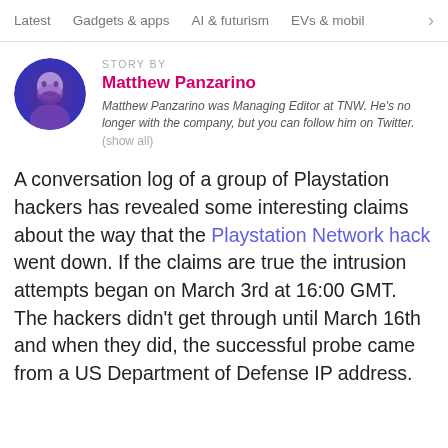Latest   Gadgets & apps   AI & futurism   EVs & mobil
STORY BY
Matthew Panzarino
Matthew Panzarino was Managing Editor at TNW. He's no longer with the company, but you can follow him on Twitter. (show all)
A conversation log of a group of Playstation hackers has revealed some interesting claims about the way that the Playstation Network hack went down. If the claims are true the intrusion attempts began on March 3rd at 16:00 GMT. The hackers didn't get through until March 16th and when they did, the successful probe came from a US Department of Defense IP address.